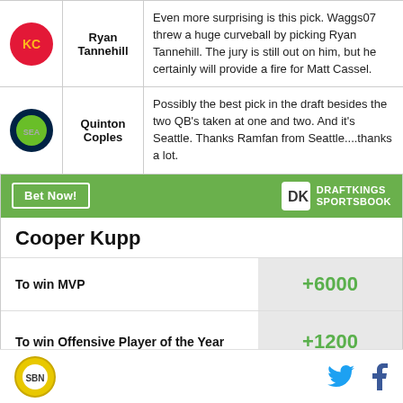| Logo | Player | Description |
| --- | --- | --- |
| [KC Chiefs logo] | Ryan Tannehill | Even more surprising is this pick. Waggs07 threw a huge curveball by picking Ryan Tannehill. The jury is still out on him, but he certainly will provide a fire for Matt Cassel. |
| [Seattle Seahawks logo] | Quinton Coples | Possibly the best pick in the draft besides the two QB's taken at one and two. And it's Seattle. Thanks Ramfan from Seattle....thanks a lot. |
[Figure (screenshot): DraftKings Sportsbook advertisement widget with green header showing 'Bet Now!' button and DraftKings logo]
Cooper Kupp
To win MVP +6000
To win Offensive Player of the Year +1200
SB Nation logo, Twitter icon, Facebook icon